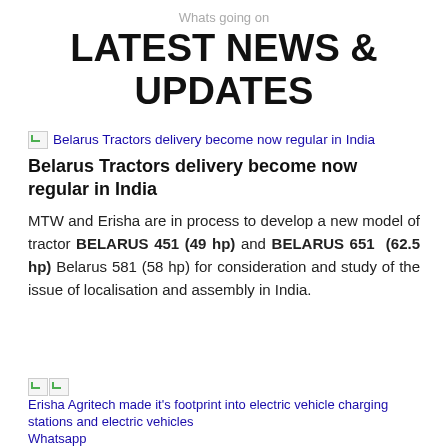Whats going on
LATEST NEWS & UPDATES
Belarus Tractors delivery become now regular in India
Belarus Tractors delivery become now regular in India
MTW and Erisha are in process to develop a new model of tractor BELARUS 451 (49 hp) and BELARUS 651 (62.5 hp) Belarus 581 (58 hp) for consideration and study of the issue of localisation and assembly in India.
Erisha Agritech made it's footprint into electric vehicle charging stations and electric vehicles